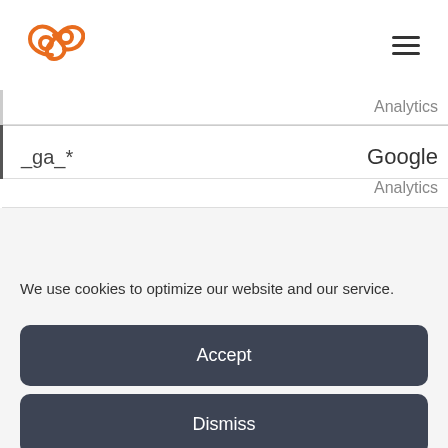| Cookie | Provider |
| --- | --- |
| _ga_* | Google Analytics |
We use cookies to optimize our website and our service.
Accept
Dismiss
Preferences
Cookie policy   Privacybeleid